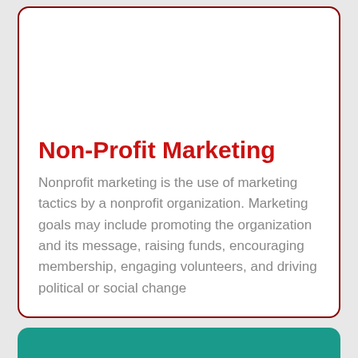Non-Profit Marketing
Nonprofit marketing is the use of marketing tactics by a nonprofit organization. Marketing goals may include promoting the organization and its message, raising funds, encouraging membership, engaging volunteers, and driving political or social change
[Figure (illustration): Partial view of a teal/green card with a white rounded rectangle containing a blue semi-circular graphic at the bottom of the page]